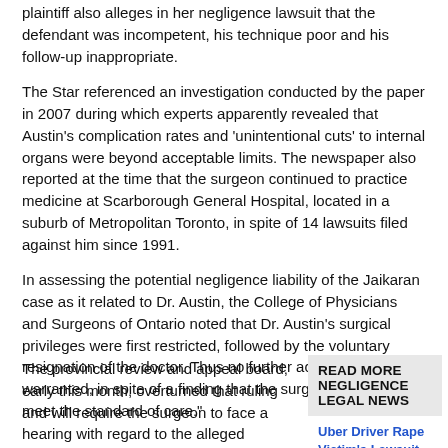plaintiff also alleges in her negligence lawsuit that the defendant was incompetent, his technique poor and his follow-up inappropriate.
The Star referenced an investigation conducted by the paper in 2007 during which experts apparently revealed that Austin's complication rates and 'unintentional cuts' to internal organs were beyond acceptable limits. The newspaper also reported at the time that the surgeon continued to practice medicine at Scarborough General Hospital, located in a suburb of Metropolitan Toronto, in spite of 14 lawsuits filed against him since 1991.
In assessing the potential negligence liability of the Jaikaran case as it related to Dr. Austin, the College of Physicians and Surgeons of Ontario noted that Dr. Austin's surgical privileges were first restricted, followed by the voluntary resignation of the doctor. Thus no further action was warranted, in spite of a finding that the surgeon "failed to meet the standard of care."
The provincial review and appeal board, early this month, overturned that ruling and will require the surgeon to face a hearing with regard to the alleged negligence. The panel has d...
READ MORE NEGLIGENCE LEGAL NEWS
Uber Driver Rape Victim's Lawsuit Demands Overhaul of Uber Safety Measures
Smith & Nephew Birmingham Hip Resurfacing Lawsuit Filed
[Figure (other): Red button with orange FREE badge: REQUEST LEGAL HELP NOW!]
CE NEWS